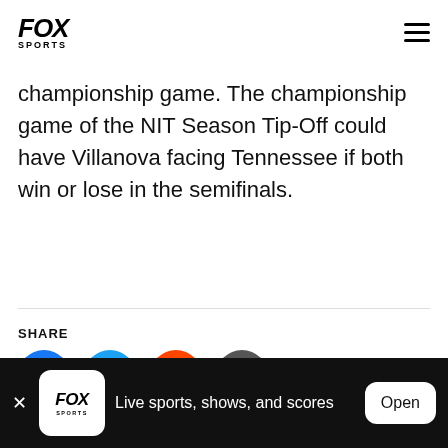FOX SPORTS
championship game. The championship game of the NIT Season Tip-Off could have Villanova facing Tennessee if both win or lose in the semifinals.
SHARE
[Figure (infographic): Social share buttons: Facebook (blue circle with f), Twitter (blue circle with bird), Reddit (orange circle with alien), Link (dark grey circle with chain link icon)]
FOX SPORTS — Live sports, shows, and scores — Open